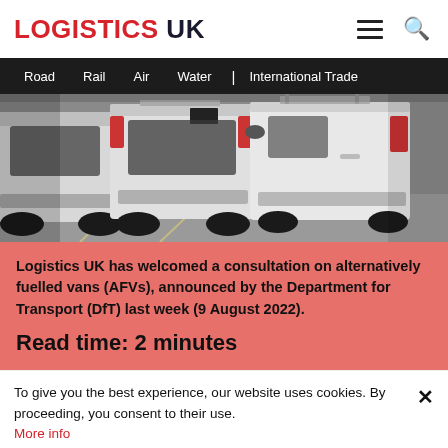LOGISTICS UK
Road  Rail  Air  Water  |  International Trade
[Figure (photo): Row of white delivery vans parked side by side, viewed from the rear/side angle in a parking lot]
Logistics UK has welcomed a consultation on alternatively fuelled vans (AFVs), announced by the Department for Transport (DfT) last week (9 August 2022).
Read time: 2 minutes
To give you the best experience, our website uses cookies. By proceeding, you consent to their use. More info